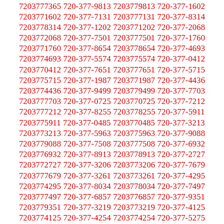7203778800 720-377-5303 7203775303 720-377-7905
7203777905 720-377-8347 7203778347 720-377-7365
7203777365 720-377-9813 7203779813 720-377-1602
7203771602 720-377-7131 7203777131 720-377-8314
7203778314 720-377-1202 7203771202 720-377-2068
7203772068 720-377-7501 7203777501 720-377-1760
7203771760 720-377-8654 7203778654 720-377-4693
7203774693 720-377-5574 7203775574 720-377-0412
7203770412 720-377-7651 7203777651 720-377-5715
7203775715 720-377-1987 7203771987 720-377-4436
7203774436 720-377-9499 7203779499 720-377-7703
7203777703 720-377-0725 7203770725 720-377-7212
7203777212 720-377-8255 7203778255 720-377-5911
7203775911 720-377-0485 7203770485 720-377-3213
7203773213 720-377-5963 7203775963 720-377-9088
7203779088 720-377-7508 7203777508 720-377-6932
7203776932 720-377-8913 7203778913 720-377-2727
7203772727 720-377-3206 7203773206 720-377-7679
7203777679 720-377-3261 7203773261 720-377-4295
7203774295 720-377-8034 7203778034 720-377-7497
7203777497 720-377-6857 7203776857 720-377-9351
7203779351 720-377-3219 7203773219 720-377-4125
7203774125 720-377-4254 7203774254 720-377-5275
7203775275 720-377-3287 7203773287 720-377-8122
7203778122 720-377-2238 7203772238 720-377-3906